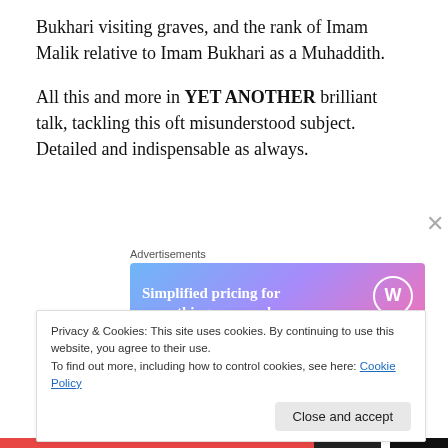Bukhari visiting graves, and the rank of Imam Malik relative to Imam Bukhari as a Muhaddith.
All this and more in YET ANOTHER brilliant talk, tackling this oft misunderstood subject. Detailed and indispensable as always.
[Figure (other): WordPress.com advertisement banner: 'Simplified pricing for everything you need.' with WordPress.com logo]
Sheikh Atabek is really becoming the premier scholar as
Privacy & Cookies: This site uses cookies. By continuing to use this website, you agree to their use.
To find out more, including how to control cookies, see here: Cookie Policy